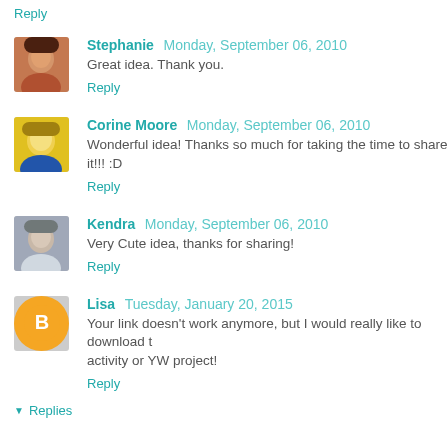Reply
Stephanie Monday, September 06, 2010
Great idea. Thank you.
Reply
Corine Moore Monday, September 06, 2010
Wonderful idea! Thanks so much for taking the time to share it!!! :D
Reply
Kendra Monday, September 06, 2010
Very Cute idea, thanks for sharing!
Reply
Lisa Tuesday, January 20, 2015
Your link doesn't work anymore, but I would really like to download t... activity or YW project!
Reply
Replies